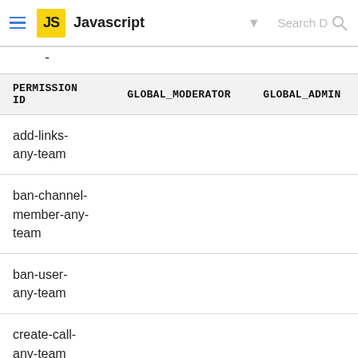Javascript
| PERMISSION ID | GLOBAL_MODERATOR | GLOBAL_ADMIN |
| --- | --- | --- |
| add-links-any-team |  |  |
| ban-channel-member-any-team |  |  |
| ban-user-any-team |  |  |
| create-call-any-team |  |  |